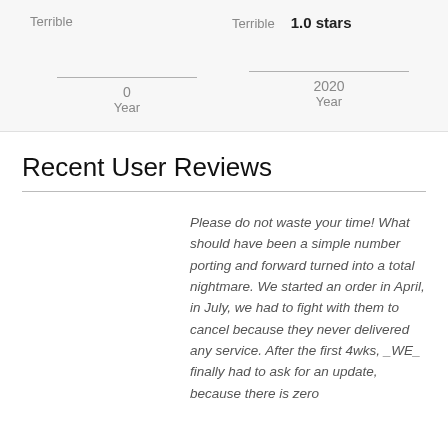Terrible
Terrible   1.0 stars
0
Year
2020
Year
Recent User Reviews
Please do not waste your time! What should have been a simple number porting and forward turned into a total nightmare. We started an order in April, in July, we had to fight with them to cancel because they never delivered any service. After the first 4wks, _WE_ finally had to ask for an update, because there is zero